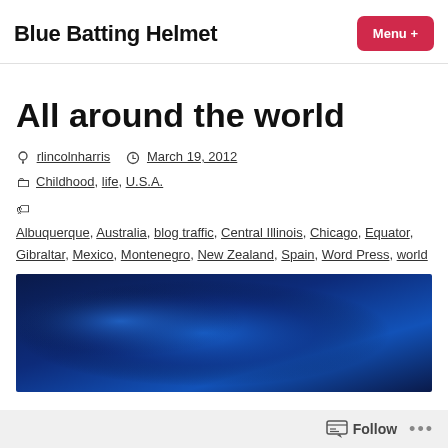Blue Batting Helmet  Menu +
All around the world
by rlincolnharris  March 19, 2012
Childhood, life, U.S.A.
Albuquerque, Australia, blog traffic, Central Illinois, Chicago, Equator, Gibraltar, Mexico, Montenegro, New Zealand, Spain, Word Press, world
[Figure (photo): Dark blue glossy background image, gradient from navy to bright blue]
Follow ...